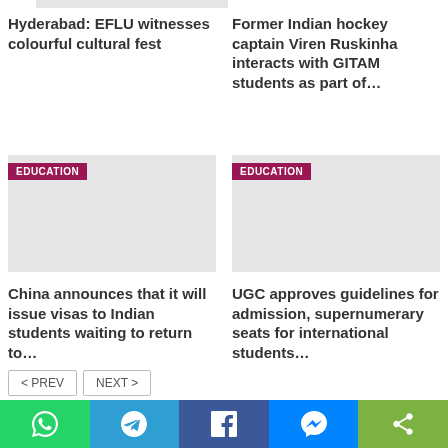[Figure (screenshot): Partial image at top of page, light gray background]
Hyderabad: EFLU witnesses colourful cultural fest
Former Indian hockey captain Viren Ruskinha interacts with GITAM students as part of…
[Figure (photo): Education article image placeholder with EDUCATION badge, left column]
[Figure (photo): Education article image placeholder with EDUCATION badge, right column]
China announces that it will issue visas to Indian students waiting to return to…
UGC approves guidelines for admission, supernumerary seats for international students…
< PREV   NEXT >